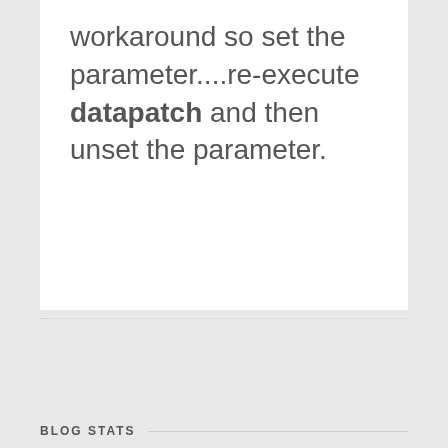workaround so set the parameter....re-execute datapatch and then unset the parameter.
BLOG STATS